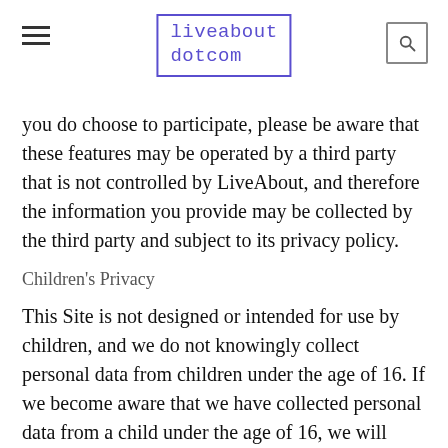liveabout dotcom
you do choose to participate, please be aware that these features may be operated by a third party that is not controlled by LiveAbout, and therefore the information you provide may be collected by the third party and subject to its privacy policy.
Children's Privacy
This Site is not designed or intended for use by children, and we do not knowingly collect personal data from children under the age of 16. If we become aware that we have collected personal data from a child under the age of 16, we will delete any such information.
Information for Users Outside the United States